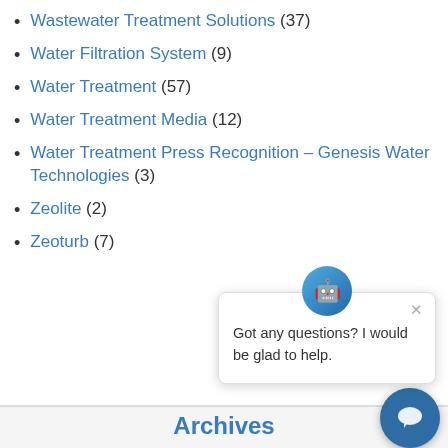Wastewater Treatment Solutions (37)
Water Filtration System (9)
Water Treatment (57)
Water Treatment Media (12)
Water Treatment Press Recognition – Genesis Water Technologies (3)
Zeolite (2)
Zeoturb (7)
[Figure (other): Chat popup widget with avatar icon and text 'Got any questions? I would be glad to help.' with a close button and a chat bubble button in the corner.]
Archives
August 2022 (1)
July 2022 (2)